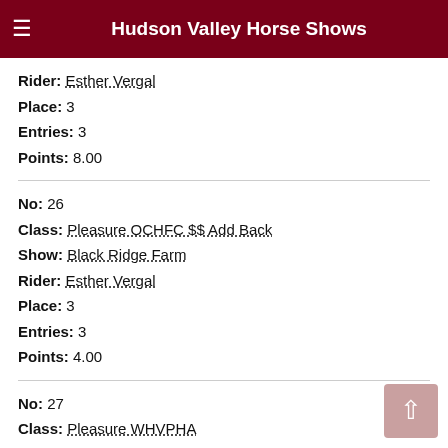Hudson Valley Horse Shows
Rider: Esther Vergal
Place: 3
Entries: 3
Points: 8.00
No: 26
Class: Pleasure OCHFC $$ Add Back
Show: Black Ridge Farm
Rider: Esther Vergal
Place: 3
Entries: 3
Points: 4.00
No: 27
Class: Pleasure WHVPHA
Show: Black Ridge Farm
Rider: Esther Vergal
Place: 3
Entries: 4
Points: 4.00